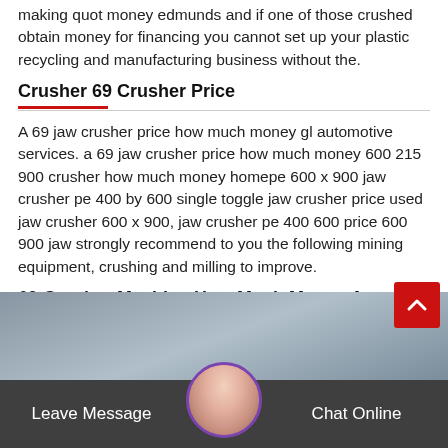making quot money edmunds and if one of those crushed obtain money for financing you cannot set up your plastic recycling and manufacturing business without the.
Crusher 69 Crusher Price
A 69 jaw crusher price how much money gl automotive services. a 69 jaw crusher price how much money 600 215 900 crusher how much money homepe 600 x 900 jaw crusher pe 400 by 600 single toggle jaw crusher price used jaw crusher 600 x 900, jaw crusher pe 400 600 price 600 900 jaw strongly recommend to you the following mining equipment, crushing and milling to improve.
69 Crusher Machine How Much Money A
[Figure (photo): A customer service representative with a headset, shown in a circular avatar frame, set against a dark blue-grey background. A back-to-top button (red with white chevron) is visible top-right.]
Leave Message | Chat Online